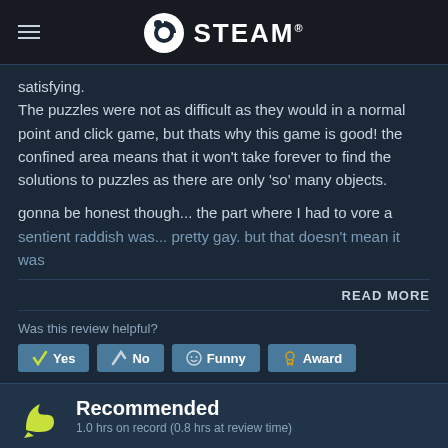STEAM
satisfying.
The puzzles were not as difficult as they would in a normal point and click game, but thats why this game is good! the confined area means that it won't take forever to find the solutions to puzzles as there are only 'so' many objects.

gonna be honest though... the part where I had to vore a sentient raddish was... pretty gay. but that doesn't mean it was
READ MORE
Was this review helpful?
Yes  No  Funny  Award
13 people found this review helpful
2 people found this review funny
Recommended